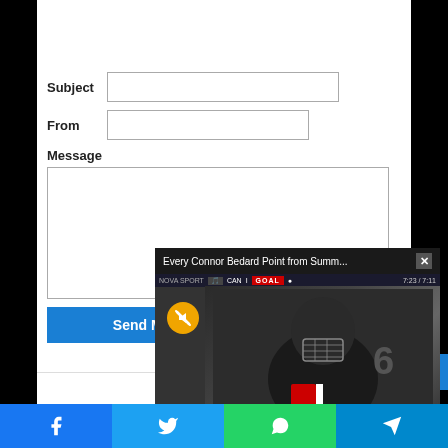Subject
From
Message
Send Message
[Figure (screenshot): Video popup showing 'Every Connor Bedard Point from Summ...' with a hockey player wearing a helmet and cage, scoreboard showing GOAL, and a mute button]
[Figure (infographic): Social sharing bar at bottom with Facebook, Twitter, WhatsApp, and Telegram icons]